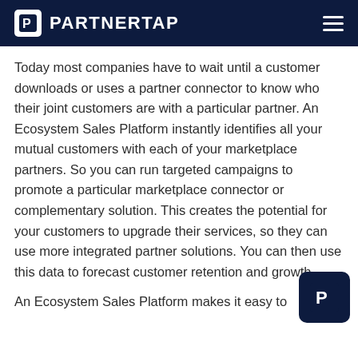PARTNERTAP
Today most companies have to wait until a customer downloads or uses a partner connector to know who their joint customers are with a particular partner. An Ecosystem Sales Platform instantly identifies all your mutual customers with each of your marketplace partners. So you can run targeted campaigns to promote a particular marketplace connector or complementary solution. This creates the potential for your customers to upgrade their services, so they can use more integrated partner solutions. You can then use this data to forecast customer retention and growth.
An Ecosystem Sales Platform makes it easy to